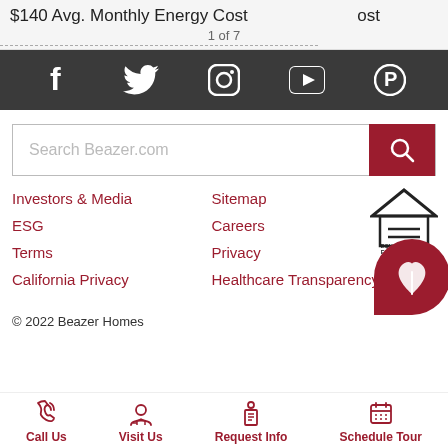$140 Avg. Monthly Energy Cost
1 of 7
ost
[Figure (infographic): Dark grey social media bar with icons for Facebook, Twitter, Instagram, YouTube, and Pinterest in white]
[Figure (screenshot): Search bar with placeholder text 'Search Beazer.com' and a red search button with magnifying glass icon]
Investors & Media
ESG
Terms
California Privacy
Sitemap
Careers
Privacy
Healthcare Transparency
[Figure (logo): Equal Housing Opportunity logo - house with equals sign]
[Figure (logo): Red circular badge with white leaf/flower icon]
© 2022 Beazer Homes
Call Us  Visit Us  Request Info  Schedule Tour